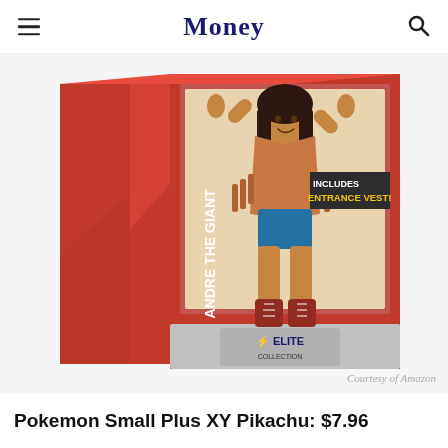Money
[Figure (photo): WWE Elite Collection Andre the Giant action figure in its retail packaging. The box is red and silver with 'ANDRE THE GIANT' printed vertically on the side panel. The figure is wearing a fringe vest and blue trunks. Text on the packaging reads 'INCLUDES ENTRANCE VEST!' and features the 'ELITE COLLECTION' logo at the bottom.]
Courtesy of Amazon
Pokemon Small Plus XY Pikachu: $7.96